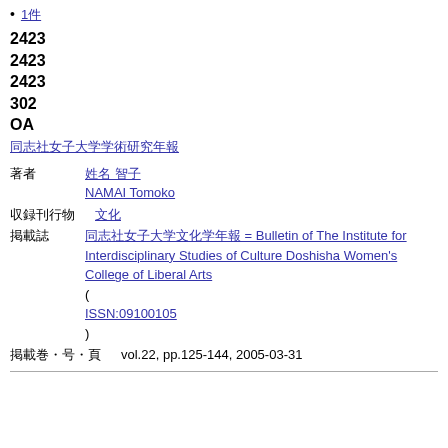1件
2423
2423
2423
302
OA
同志社女子大学学術研究年報
著者
姓名 智子
NAMAI Tomoko
収録刊行物
文化学年報
掲載誌
同志社女子大学文化学年報 = Bulletin of The Institute for Interdisciplinary Studies of Culture Doshisha Women's College of Liberal Arts
(
ISSN:09100105
)
掲載巻・号・頁
vol.22, pp.125-144, 2005-03-31